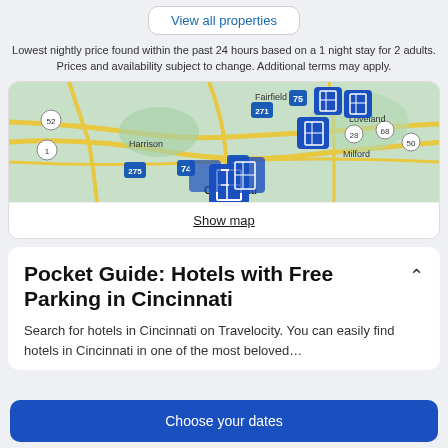View all properties
Lowest nightly price found within the past 24 hours based on a 1 night stay for 2 adults. Prices and availability subject to change. Additional terms may apply.
[Figure (map): Map of Cincinnati area showing hotel location markers around Cincinnati, Loveland, Fairfield, Milford, Harrison areas with road network]
Show map
Pocket Guide: Hotels with Free Parking in Cincinnati
Search for hotels in Cincinnati on Travelocity. You can easily find hotels in Cincinnati in one of the most beloved…
Choose your dates